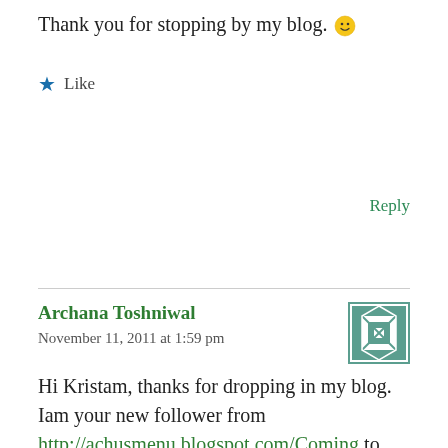Thank you for stopping by my blog. 🙂
Like
Reply
Archana Toshniwal
November 11, 2011 at 1:59 pm
Hi Kristam, thanks for dropping in my blog. Iam your new follower from http://achusmenu.blogspot.com/Coming to recipe it was wow!I will definitely try this recipe in future....Thanks....
Like